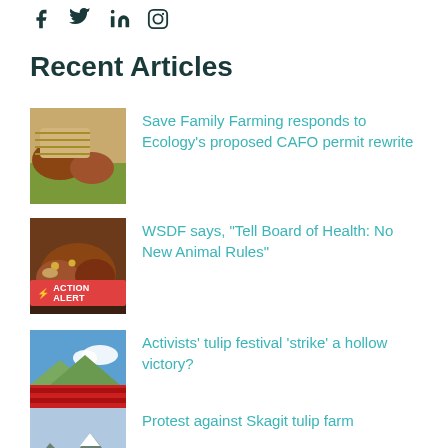Social media icons: Facebook, Twitter, LinkedIn, Instagram
Recent Articles
Save Family Farming responds to Ecology's proposed CAFO permit rewrite
WSDF says, “Tell Board of Health: No New Animal Rules”
Activists’ tulip festival ‘strike’ a hollow victory?
Protest against Skagit tulip farm